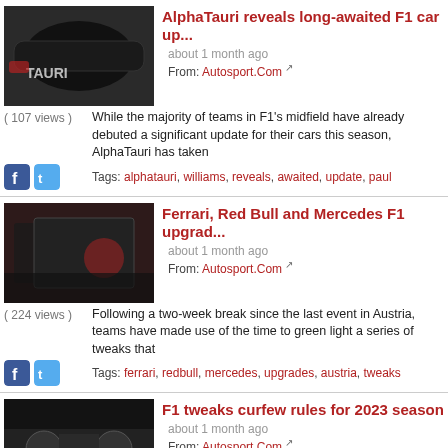AlphaTauri reveals long-awaited F1 car up...
about 1 month ago
From: Autosport.Com
( 107 views ) While the majority of teams in F1's midfield have already debuted a significant update for their cars this season, AlphaTauri has taken
Tags: alphatauri, williams, reveals, awaited, update, paul
Ferrari, Red Bull and Mercedes F1 upgrad...
about 1 month ago
From: Autosport.Com
( 224 views ) Following a two-week break since the last event in Austria, teams have made use of the time to green light a series of tweaks that
Tags: ferrari, redbull, mercedes, upgrades, austria, tweaks
F1 tweaks curfew rules for 2023 season
about 1 month ago
From: Autosport.Com
( 138 views ) Teams agreed to support the initiative as they try to reduce the workload on staff members heading into what is expected to be a
Tags: tweaks, curfew, 2023, agreed, initiative, reduce
F1 approves budget cap tweaks to reflect i...
about 1 month ago
From: EspnF1.Com